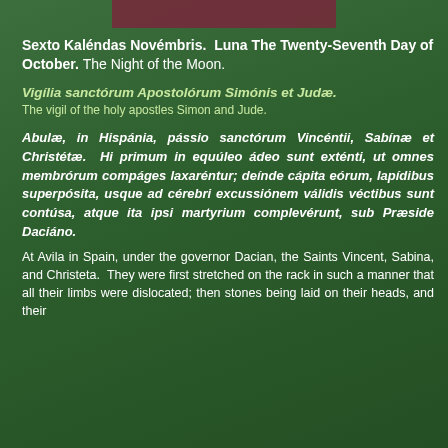[Figure (photo): Background photo of Catholic priests in green vestments performing a religious ceremony, with altar and candles visible. A maroon/dark red rectangular bar overlays the top center of the image.]
Sexto Kaléndas Novémbris.  Luna The Twenty-Seventh Day of October.  The Night of the Moon.
Vigília sanctórum Apostolórum Simónis et Judæ.
The vigil of the holy apostles Simon and Jude.
Abulæ, in Hispánia, pássio sanctórum Vincéntii, Sabínæ et Christétæ.  Hi primum in equúleo ádeo sunt exténti, ut omnes membrórum compáges laxaréntur; deínde cápita eórum, lapídibus superpósita, usque ad cérebri excussiónem válidis véctibus sunt contúsa, atque ita ipsi martyrium complevérunt, sub Præside Daciáno.
At Avila in Spain, under the governor Dacian, the Saints Vincent, Sabina, and Christeta.  They were first stretched on the rack in such a manner that all their limbs were dislocated; then stones being laid on their heads, and their